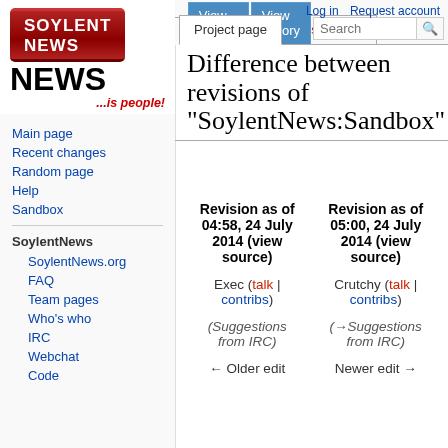Log in  Request account
[Figure (logo): SoylentNews logo - red candy bar with SOYLENT NEWS text and '...is people!' tagline]
Main page
Recent changes
Random page
Help
Sandbox
SoylentNews.org
FAQ
Team pages
Who's who
IRC
Webchat
Code
Difference between revisions of "SoylentNews:Sandbox"
| Revision as of 04:58, 24 July 2014 (view source) | Revision as of 05:00, 24 July 2014 (view source) |
| --- | --- |
| Exec (talk | contribs) | Crutchy (talk | contribs) |
| (Suggestions from IRC) | (→Suggestions from IRC) |
| ← Older edit | Newer edit → |